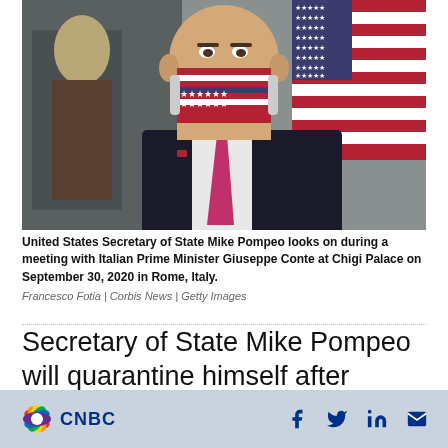[Figure (photo): United States Secretary of State Mike Pompeo wearing an American flag patterned face mask, standing in front of an American flag, wearing a dark suit and pink tie with an American flag lapel pin.]
United States Secretary of State Mike Pompeo looks on during a meeting with Italian Prime Minister Giuseppe Conte at Chigi Palace on September 30, 2020 in Rome, Italy.
Francesco Fotia | Corbis News | Getty Images
Secretary of State Mike Pompeo will quarantine himself after coming into contact with a person
CNBC